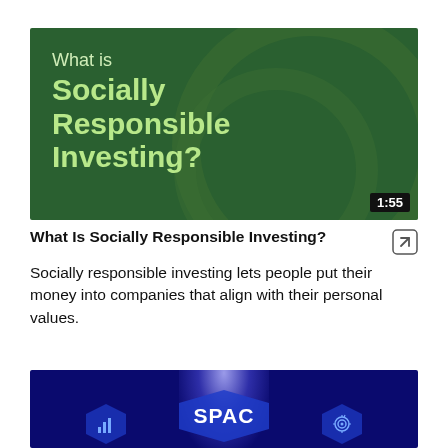[Figure (screenshot): Video thumbnail with dark green background showing text 'What is Socially Responsible Investing?' with a duration badge of 1:55]
What Is Socially Responsible Investing?
Socially responsible investing lets people put their money into companies that align with their personal values.
[Figure (screenshot): Video thumbnail with dark blue background showing hexagonal graphics and the word SPAC in the center]